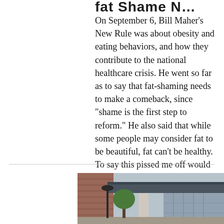...fat Shame N...
On September 6, Bill Maher's New Rule was about obesity and eating behaviors, and how they contribute to the national healthcare crisis. He went so far as to say that fat-shaming needs to make a comeback, since “shame is the first step to reform.” He also said that while some people may consider fat to be beautiful, fat can’t be healthy. To say this pissed me off would be an understatement. I generally like Maher, but on this, I have to disagree. That made it all the more int
[Figure (photo): Exterior photo of a building with a modern canopy/overhang, a brick wall on the left, a lamppost, trees, and glass facade on the right.]